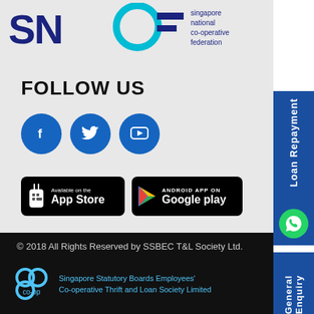[Figure (logo): SNCF Singapore National Co-operative Federation logo with teal and dark blue design]
FOLLOW US
[Figure (illustration): Three blue circular social media icons: Facebook, Twitter, YouTube]
[Figure (illustration): App Store and Google Play download badges on black background]
© 2018 All Rights Reserved by SSBEC T&L Society Ltd.
[Figure (logo): Singapore Statutory Boards Employees' Co-operative Thrift and Loan Society Limited logo and text]
Loan Repayment
General Enquiry